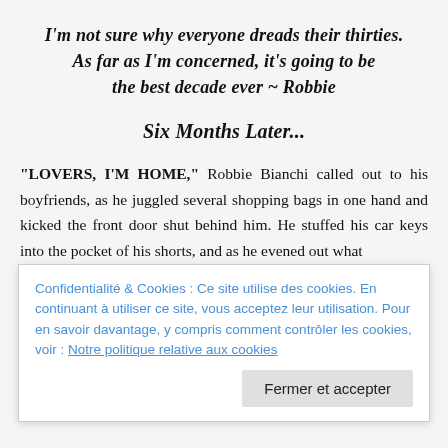I'm not sure why everyone dreads their thirties. As far as I'm concerned, it's going to be the best decade ever ~ Robbie
Six Months Later...
"LOVERS, I'M HOME," Robbie Bianchi called out to his boyfriends, as he juggled several shopping bags in one hand and kicked the front door shut behind him. He stuffed his car keys into the pocket of his shorts, and as he evened out what
Confidentialité & Cookies : Ce site utilise des cookies. En continuant à utiliser ce site, vous acceptez leur utilisation. Pour en savoir davantage, y compris comment contrôler les cookies, voir : Notre politique relative aux cookies
Fermer et accepter